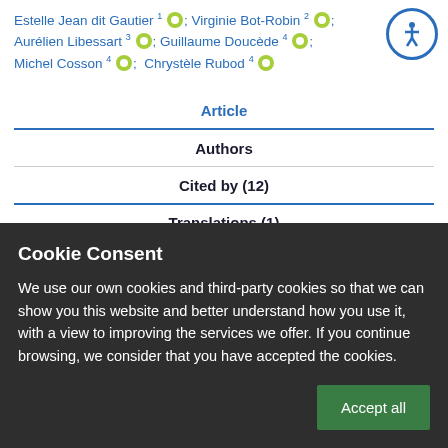Estelle Jean dit Gautier 1 [ORCID]; Virginie Bot-Robin 2 [ORCID]; Aurélien Libessart 3 [ORCID]; Guillaume Doucède 4 [ORCID]; Michel Cosson 4 [ORCID]; Chrystèle Rubod 4 [ORCID]
Article
Authors
Cited by (12)
Cookie Consent
We use our own cookies and third-party cookies so that we can show you this website and better understand how you use it, with a view to improving the services we offer. If you continue browsing, we consider that you have accepted the cookies.